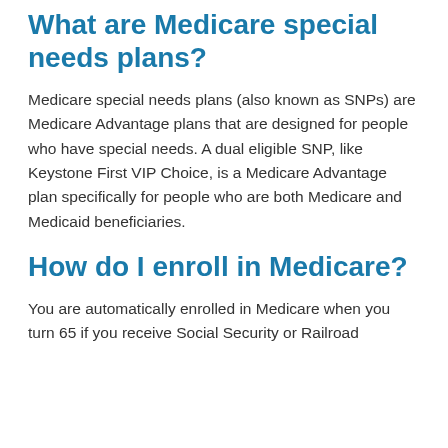What are Medicare special needs plans?
Medicare special needs plans (also known as SNPs) are Medicare Advantage plans that are designed for people who have special needs. A dual eligible SNP, like Keystone First VIP Choice, is a Medicare Advantage plan specifically for people who are both Medicare and Medicaid beneficiaries.
How do I enroll in Medicare?
You are automatically enrolled in Medicare when you turn 65 if you receive Social Security or Railroad